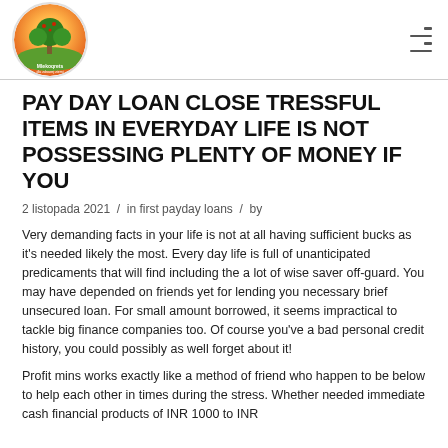PAY DAY LOAN CLOSE TRESSFUL ITEMS IN EVERYDAY LIFE IS NOT POSSESSING PLENTY OF MONEY IF YOU
2 listopada 2021 / in first payday loans / by
Very demanding facts in your life is not at all having sufficient bucks as it's needed likely the most. Every day life is full of unanticipated predicaments that will find including the a lot of wise saver off-guard. You may have depended on friends yet for lending you necessary brief unsecured loan. For small amount borrowed, it seems impractical to tackle big finance companies too. Of course you've a bad personal credit history, you could possibly as well forget about it!
Profit mins works exactly like a method of friend who happen to be below to help each other in times during the stress. Whether needed immediate cash financial products of INR 1000 to INR